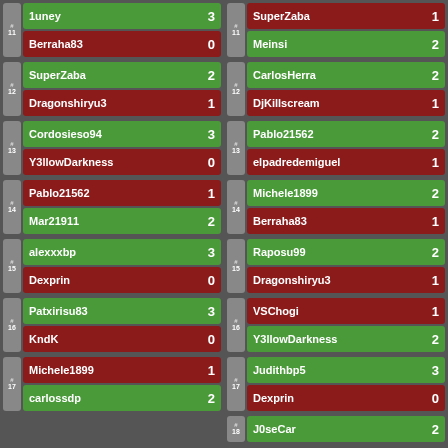| Match | Player | Score |
| --- | --- | --- |
| #11 | 1uney | 3 |
| #11 | Berraha83 | 0 |
| #12 | SuperZaba | 2 |
| #12 | Dragonshiryu3 | 1 |
| #13 | Cordosieso94 | 3 |
| #13 | Y3llowDarkness | 0 |
| #14 | Pablo21562 | 1 |
| #14 | Mar21911 | 2 |
| #15 | alexxxbp | 3 |
| #15 | Dexprin | 0 |
| #16 | Patxirisu83 | 3 |
| #16 | KndK | 0 |
| #17 | Michele1899 | 1 |
| #17 | carlossdp | 2 |
| #11 | SuperZaba | 1 |
| #11 | Meinsi | 2 |
| #12 | CarlosHerra | 2 |
| #12 | DjKillscream | 1 |
| #13 | Pablo21562 | 2 |
| #13 | elpadredemiguel | 1 |
| #14 | Michele1899 | 2 |
| #14 | Berraha83 | 1 |
| #15 | Raposu99 | 2 |
| #15 | Dragonshiryu3 | 1 |
| #16 | VSChogi | 1 |
| #16 | Y3llowDarkness | 2 |
| #17 | Judithbp5 | 3 |
| #17 | Dexprin | 0 |
| #18 | J0seCar | 2 |